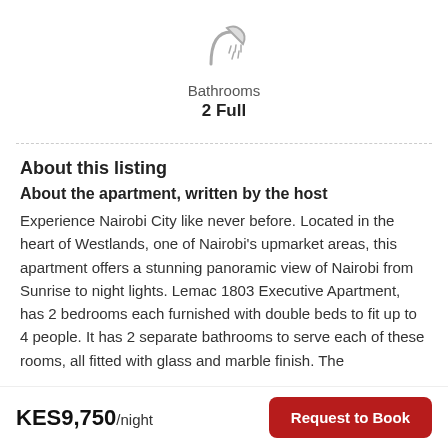[Figure (illustration): Shower/bathroom icon in light gray]
Bathrooms
2 Full
About this listing
About the apartment, written by the host
Experience Nairobi City like never before. Located in the heart of Westlands, one of Nairobi’s upmarket areas, this apartment offers a stunning panoramic view of Nairobi from Sunrise to night lights. Lemac 1803 Executive Apartment, has 2 bedrooms each furnished with double beds to fit up to 4 people. It has 2 separate bathrooms to serve each of these rooms, all fitted with glass and marble finish. The
KES9,750/night
Request to Book